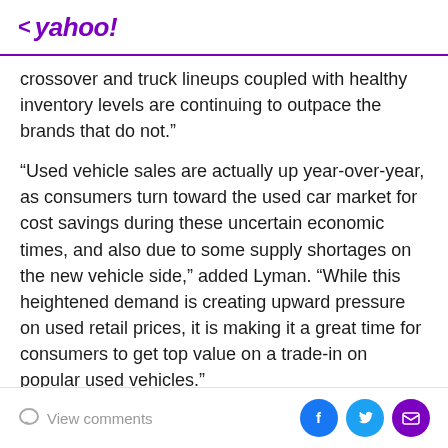< yahoo!
crossover and truck lineups coupled with healthy inventory levels are continuing to outpace the brands that do not.”
“Used vehicle sales are actually up year-over-year, as consumers turn toward the used car market for cost savings during these uncertain economic times, and also due to some supply shortages on the new vehicle side,” added Lyman. “While this heightened demand is creating upward pressure on used retail prices, it is making it a great time for consumers to get top value on a trade-in on popular used vehicles.”
Additional Insights: (Forecast by ALG)
View comments